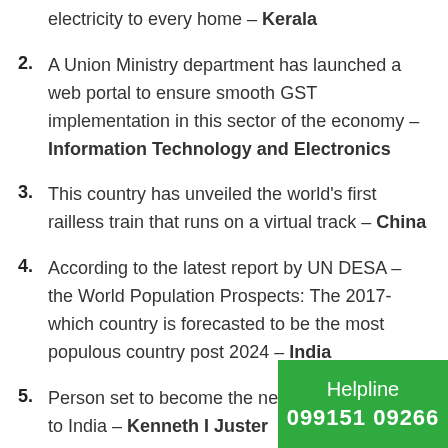electricity to every home – Kerala
2. A Union Ministry department has launched a web portal to ensure smooth GST implementation in this sector of the economy – Information Technology and Electronics
3. This country has unveiled the world's first railless train that runs on a virtual track – China
4. According to the latest report by UN DESA – the World Population Prospects: The 2017- which country is forecasted to be the most populous country post 2024 – India
5. Person set to become the next US Ambassador to India – Kenneth I Juster
6. Father of India's Nuclear Fusion who di…
Helpline
099151 09266